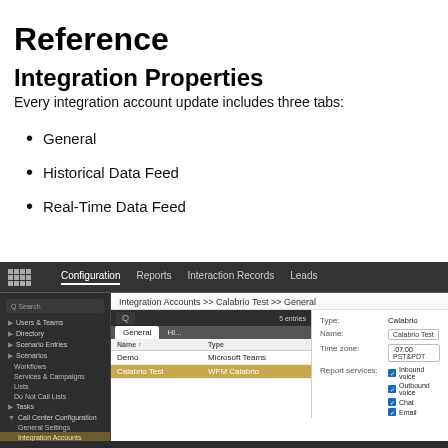Reference
Integration Properties
Every integration account update includes three tabs:
General
Historical Data Feed
Real-Time Data Feed
[Figure (screenshot): Screenshot of a web application showing Integration Accounts >> Calabrio Test >> General configuration page. Left sidebar shows navigation items including Users & Teams, Directory, Scenario Entries, Scenarios, Workflows, Services & Campaigns, Lists, Do Not Call Lists, Tasks, Call Center Configuration with General Settings, Integration Accounts (highlighted), Identification, Knowledge Base, Calendars. Main area shows a table with Demo (Microsoft Teams) and Calabrio Test (WFM Calabrio, highlighted) entries. Right panel shows fields: Type: Calabrio, Name: Calabrio Test, Time zone: -07:00 PST&PDT, Report services with checkboxes for Inbound voice, Outbound voice, Chat, Email.]